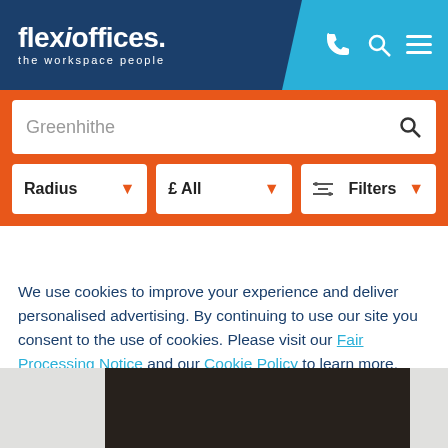[Figure (logo): flexioffices. the workspace people logo in white on dark blue header, with phone, search, and menu icons on cyan right panel]
Greenhithe
Radius ▾   £ All ▾   ≡ Filters ▾
We use cookies to improve your experience and deliver personalised advertising. By continuing to use our site you consent to the use of cookies. Please visit our Fair Processing Notice and our Cookie Policy to learn more.
Read more
Accept & Close
[Figure (photo): Dark carpeted room interior, partial view at bottom of page]